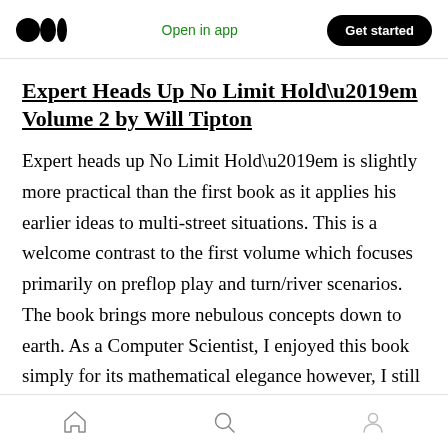Medium logo | Open in app | Get started
Expert Heads Up No Limit Hold’em Volume 2 by Will Tipton
Expert heads up No Limit Hold’em is slightly more practical than the first book as it applies his earlier ideas to multi-street situations. This is a welcome contrast to the first volume which focuses primarily on preflop play and turn/river scenarios. The book brings more nebulous concepts down to earth. As a Computer Scientist, I enjoyed this book simply for its mathematical elegance however, I still believe the concepts will hold value for many players. The book also comes
Home | Search | Profile